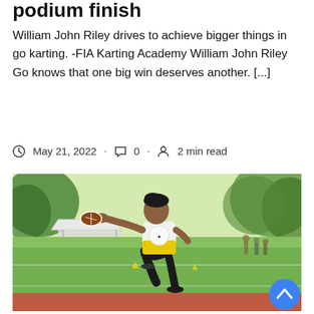podium finish
William John Riley drives to achieve bigger things in go karting. -FIA Karting Academy William John Riley Go knows that one big win deserves another. [...]
May 21, 2022 · 0 · 2 min read
[Figure (photo): A young male athlete in a white and yellow sleeveless jersey throwing a football on a sports field. Red track visible in background with trees and a white tent canopy.]